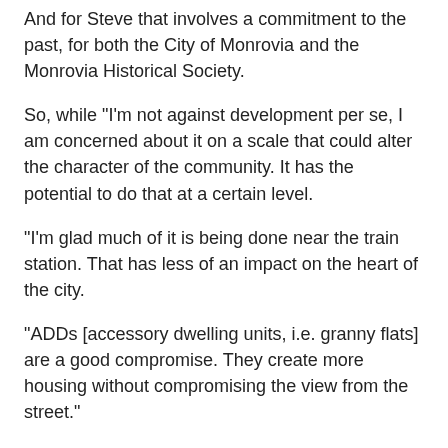And for Steve that involves a commitment to the past, for both the City of Monrovia and the Monrovia Historical Society.
So, while "I'm not against development per se, I am concerned about it on a scale that could alter the character of the community. It has the potential to do that at a certain level.
"I'm glad much of it is being done near the train station. That has less of an impact on the heart of the city.
"ADDs [accessory dwelling units, i.e. granny flats] are a good compromise. They create more housing without compromising the view from the street."
And for the Monrovia Historical Society he believes its goal should continue to be, through the Anderson House, to "provide the public with an immersion experience. To give the feeling of how people lived 100 years ago. There's nowhere else where you can step into the past.
"Consider the kitchen and at his island to deal with...